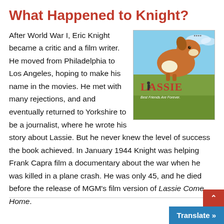What Happened to Knight?
[Figure (illustration): Lassie movie cover showing a collie dog against a sky background with the text 'LASSIE' and 'Best Friends Are Forever']
After World War I, Eric Knight became a critic and a film writer. He moved from Philadelphia to Los Angeles, hoping to make his name in the movies. He met with many rejections, and and eventually returned to Yorkshire to be a journalist, where he wrote his story about Lassie. But he never knew the level of success the book achieved. In January 1944 Knight was helping Frank Capra film a documentary about the war when he was killed in a plane crash. He was only 45, and he died before the release of MGM's film version of Lassie Come Home.